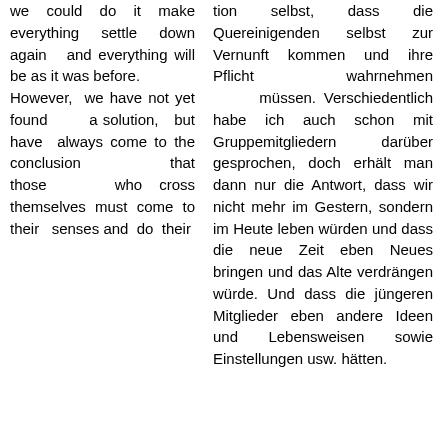we could do it make everything settle down again and everything will be as it was before. However, we have not yet found a solution, but have always come to the conclusion that those who cross themselves must come to their senses and do their
tion selbst, dass die Quereinigenden selbst zur Vernunft kommen und ihre Pflicht wahrnehmen müssen. Verschiedentlich habe ich auch schon mit Gruppemitgliedern darüber gesprochen, doch erhält man dann nur die Antwort, dass wir nicht mehr im Gestern, sondern im Heute leben würden und dass die neue Zeit eben Neues bringen und das Alte verdrängen würde. Und dass die jüngeren Mitglieder eben andere Ideen und Lebensweisen sowie Einstellungen usw. hätten.